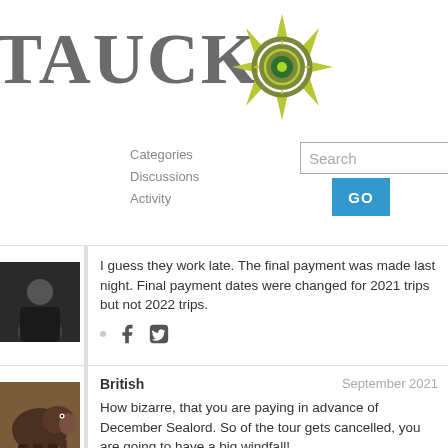[Figure (logo): Tauck travel company logo with compass rose graphic. Text reads TAUCK in large grey serif letters with a green and grey compass/wheel icon.]
Categories
Discussions
Activity
I guess they work late. The final payment was made last night. Final payment dates were changed for 2021 trips but not 2022 trips.
British  September 2021
How bizarre, that you are paying in advance of December Sealord. So of the tour gets cancelled, you are going to have a big windfall!